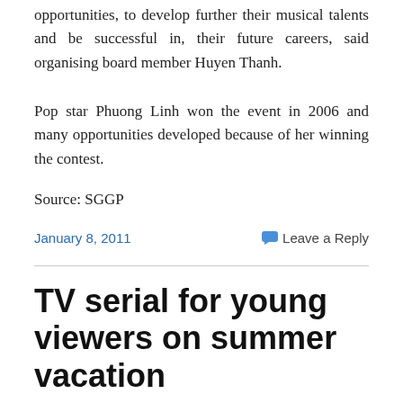opportunities, to develop further their musical talents and be successful in, their future careers, said organising board member Huyen Thanh.
Pop star Phuong Linh won the event in 2006 and many opportunities developed because of her winning the contest.
Source: SGGP
January 8, 2011   Leave a Reply
TV serial for young viewers on summer vacation